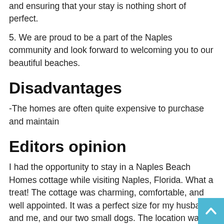and ensuring that your stay is nothing short of perfect.
5. We are proud to be a part of the Naples community and look forward to welcoming you to our beautiful beaches.
Disadvantages
-The homes are often quite expensive to purchase and maintain
Editors opinion
I had the opportunity to stay in a Naples Beach Homes cottage while visiting Naples, Florida. What a treat! The cottage was charming, comfortable, and well appointed. It was a perfect size for my husband and me, and our two small dogs. The location was excellent – just a few blocks from the beach and